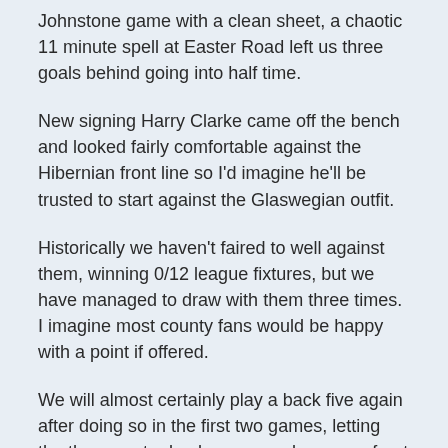Johnstone game with a clean sheet, a chaotic 11 minute spell at Easter Road left us three goals behind going into half time.
New signing Harry Clarke came off the bench and looked fairly comfortable against the Hibernian front line so I'd imagine he'll be trusted to start against the Glaswegian outfit.
Historically we haven't faired to well against them, winning 0/12 league fixtures, but we have managed to draw with them three times. I imagine most county fans would be happy with a point if offered.
We will almost certainly play a back five again after doing so in the first two games, letting the three centre backs man mark rangers front three. This means that